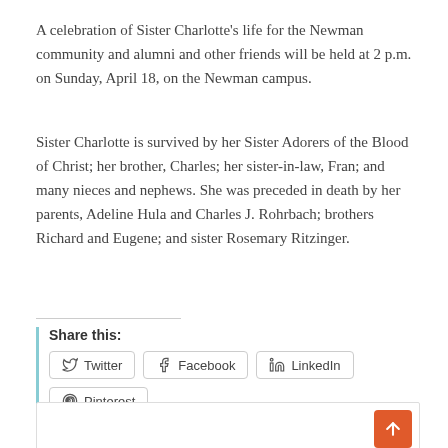A celebration of Sister Charlotte's life for the Newman community and alumni and other friends will be held at 2 p.m. on Sunday, April 18, on the Newman campus.
Sister Charlotte is survived by her Sister Adorers of the Blood of Christ; her brother, Charles; her sister-in-law, Fran; and many nieces and nephews. She was preceded in death by her parents, Adeline Hula and Charles J. Rohrbach; brothers Richard and Eugene; and sister Rosemary Ritzinger.
Share this: [Twitter] [Facebook] [LinkedIn] [Pinterest]